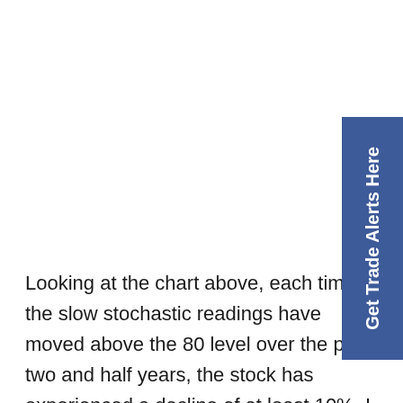[Figure (other): Blue sidebar button with rotated white text reading 'Get Trade Alerts Here']
Looking at the chart above, each time the slow stochastic readings have moved above the 80 level over the past two and half years, the stock has experienced a decline of at least 10%. I have marked the instances of overbought readings with blue circles and the